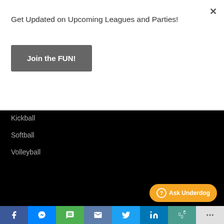Get Updated on Upcoming Leagues and Parties!
Join the FUN!
Kickball
Softball
Volleyball
Help
Locations and Directions
Sport Facts
Becoming a Captain
Upcoming Leagues
Ask Underdog
Facebook | Messenger | SMS | Email | Twitter | LinkedIn | Slack | More